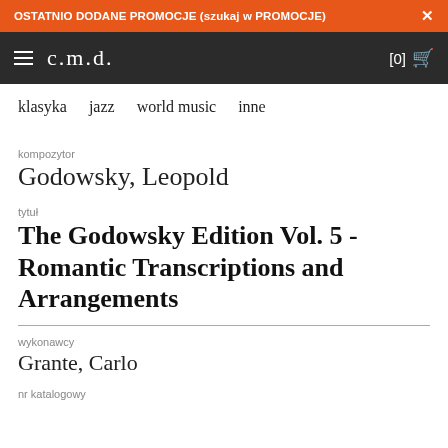OSTATNIO DODANE PROMOCJE (szukaj w PROMOCJE) ×
c.m.d. [0]
klasyka   jazz   world music   inne
kompozytor
Godowsky, Leopold
tytuł
The Godowsky Edition Vol. 5 - Romantic Transcriptions and Arrangements
wykonawcy
Grante, Carlo
nr katalogowy